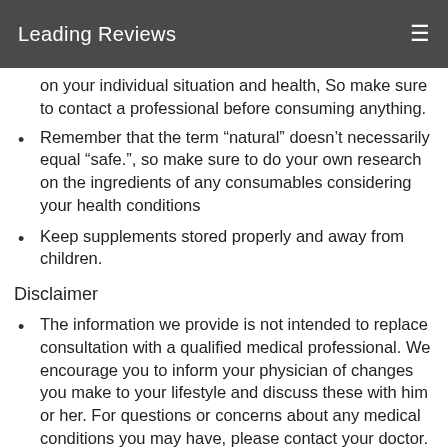Leading Reviews
on your individual situation and health, So make sure to contact a professional before consuming anything.
Remember that the term “natural” doesn’t necessarily equal “safe.”, so make sure to do your own research on the ingredients of any consumables considering your health conditions
Keep supplements stored properly and away from children.
Disclaimer
The information we provide is not intended to replace consultation with a qualified medical professional. We encourage you to inform your physician of changes you make to your lifestyle and discuss these with him or her. For questions or concerns about any medical conditions you may have, please contact your doctor.
The website’s content is based upon collecting